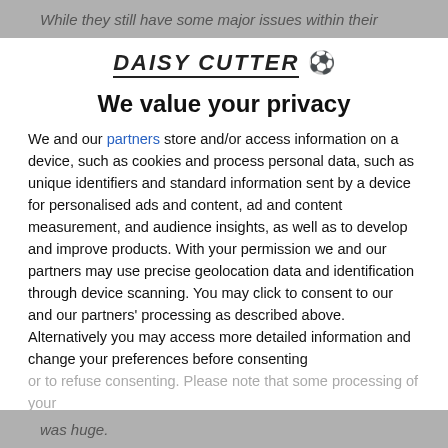While they still have some major issues within their
[Figure (logo): Daisy Cutter logo with soccer ball emoji, italic bold uppercase text]
We value your privacy
We and our partners store and/or access information on a device, such as cookies and process personal data, such as unique identifiers and standard information sent by a device for personalised ads and content, ad and content measurement, and audience insights, as well as to develop and improve products. With your permission we and our partners may use precise geolocation data and identification through device scanning. You may click to consent to our and our partners' processing as described above. Alternatively you may access more detailed information and change your preferences before consenting or to refuse consenting. Please note that some processing of your
AGREE
MORE OPTIONS
was huge.